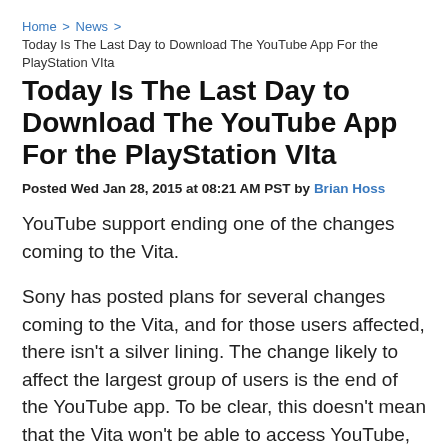Home > News > Today Is The Last Day to Download The YouTube App For the PlayStation VIta
Today Is The Last Day to Download The YouTube App For the PlayStation VIta
Posted Wed Jan 28, 2015 at 08:21 AM PST by Brian Hoss
YouTube support ending one of the changes coming to the Vita.
Sony has posted plans for several changes coming to the Vita, and for those users affected, there isn't a silver lining. The change likely to affect the largest group of users is the end of the YouTube app. To be clear, this doesn't mean that the Vita won't be able to access YouTube, rather, access will be relegated to the